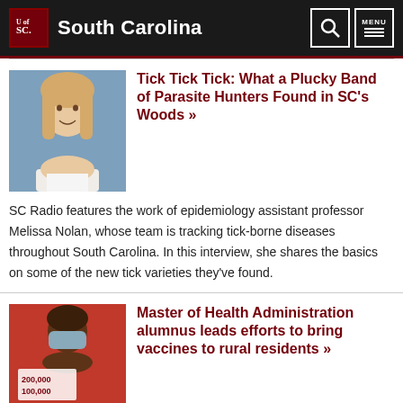University of South Carolina
Tick Tick Tick: What a Plucky Band of Parasite Hunters Found in SC's Woods »
SC Radio features the work of epidemiology assistant professor Melissa Nolan, whose team is tracking tick-borne diseases throughout South Carolina. In this interview, she shares the basics on some of the new tick varieties they've found.
[Figure (photo): Headshot of a young woman with long blonde hair, smiling, against a blue background]
Master of Health Administration alumnus leads efforts to bring vaccines to rural residents »
[Figure (photo): Person wearing a red shirt and face mask, holding a sign showing 200,000 and 100,000]